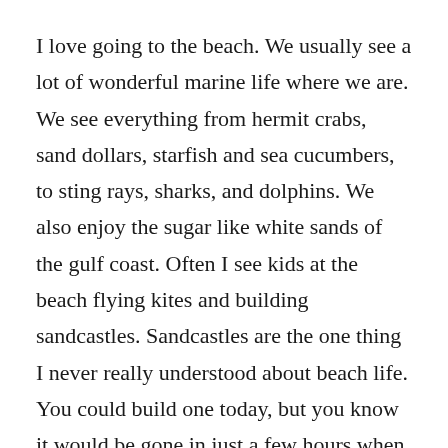I love going to the beach. We usually see a lot of wonderful marine life where we are. We see everything from hermit crabs, sand dollars, starfish and sea cucumbers, to sting rays, sharks, and dolphins. We also enjoy the sugar like white sands of the gulf coast. Often I see kids at the beach flying kites and building sandcastles. Sandcastles are the one thing I never really understood about beach life. You could build one today, but you know it would be gone in just a few hours when the tide comes in. It won't matter how much work you put in, how many decorative shells you've placed on it, or how elaborate it all is, it will wash away in the tide.
There are a lot of our lives that are like that as well. There are things we can place our time and effort into